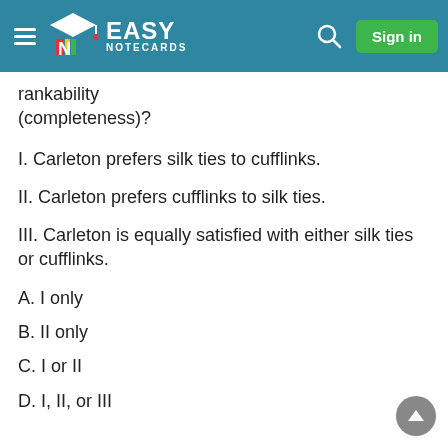Easy Notecards — Sign in
rankability (completeness)?
I. Carleton prefers silk ties to cufflinks.
II. Carleton prefers cufflinks to silk ties.
III. Carleton is equally satisfied with either silk ties or cufflinks.
A. I only
B. II only
C. I or II
D. I, II, or III